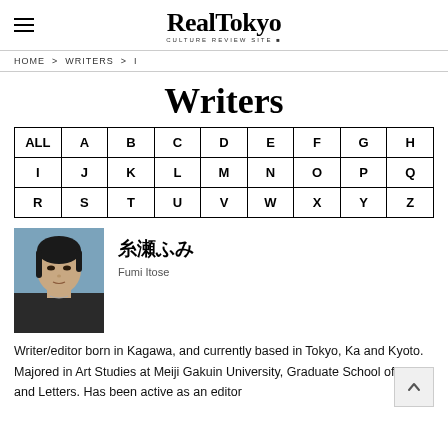RealTokyo — CULTURE REVIEW SITE
HOME > WRITERS > I
Writers
| ALL | A | B | C | D | E | F | G | H |
| --- | --- | --- | --- | --- | --- | --- | --- | --- |
| I | J | K | L | M | N | O | P | Q |
| R | S | T | U | V | W | X | Y | Z |
[Figure (photo): Headshot photo of Fumi Itose, a woman with short dark hair wearing a dark top]
糸瀬ふみ
Fumi Itose
Writer/editor born in Kagawa, and currently based in Tokyo, Ka and Kyoto. Majored in Art Studies at Meiji Gakuin University, Graduate School of Arts and Letters. Has been active as an editor